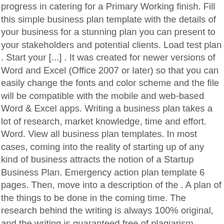progress in catering for a Primary Working finish. Fill this simple business plan template with the details of your business for a stunning plan you can present to your stakeholders and potential clients. Load test plan . Start your [...] . It was created for newer versions of Word and Excel (Office 2007 or later) so that you can easily change the fonts and color scheme and the file will be compatible with the mobile and web-based Word & Excel apps. Writing a business plan takes a lot of research, market knowledge, time and effort. Word. View all business plan templates. In most cases, coming into the reality of starting up of any kind of business attracts the notion of a Startup Business Plan. Emergency action plan template 6 pages. Then, move into a description of the . A plan of the things to be done in the coming time. The research behind the writing is always 100% original, and the writing is guaranteed free of plagiarism. Template Simple Business Plan use Template Simple Business Plan when you place an order, and we will find a writer familiar with it. A retail business plan form is an easy to edit business plan to help you get your retail business plotted out. Simple Business Plan Template Uk Word get it done by experts and see the difference for yourself. One-Page Business Plan Template for a Service Business. Download Open in browser. Eight (short) sections: Business Opportunity, Industry Analysis...